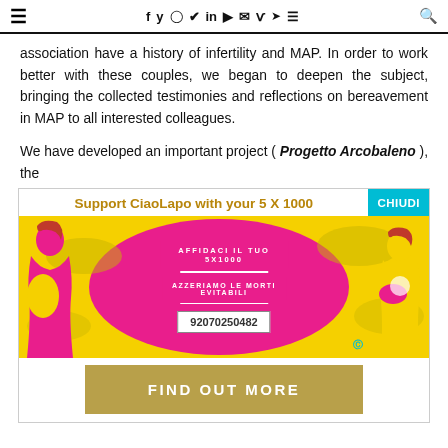≡   f y ⊙ ℗ in ▶ ✉ V ⊙ ≡ 🔍
association have a history of infertility and MAP. In order to work better with these couples, we began to deepen the subject, bringing the collected testimonies and reflections on bereavement in MAP to all interested colleagues.
We have developed an important project ( Progetto Arcobaleno ), the
[Figure (infographic): CiaoLapo donation banner. Header reads 'Support CiaoLapo with your 5 X 1000' with a 'CHIUDI' (close) button in cyan. Main image shows yellow background with pink blob shapes and two female silhouettes (one pregnant on the left, one holding a baby on the right). Center text reads 'AFFIDACI IL TUO 5X1000' and 'AZZERIAMO LE MORTI EVITABILI' with a white ribbon number badge '92070250482'. Below is a gold/tan button reading 'FIND OUT MORE'.]